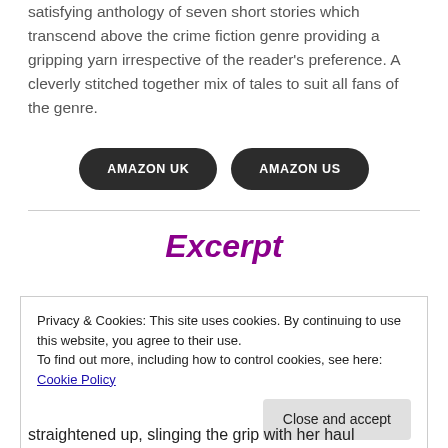satisfying anthology of seven short stories which transcend above the crime fiction genre providing a gripping yarn irrespective of the reader's preference. A cleverly stitched together mix of tales to suit all fans of the genre.
AMAZON UK
AMAZON US
Excerpt
Privacy & Cookies: This site uses cookies. By continuing to use this website, you agree to their use.
To find out more, including how to control cookies, see here:
Cookie Policy
Close and accept
straightened up, slinging the grip with her haul